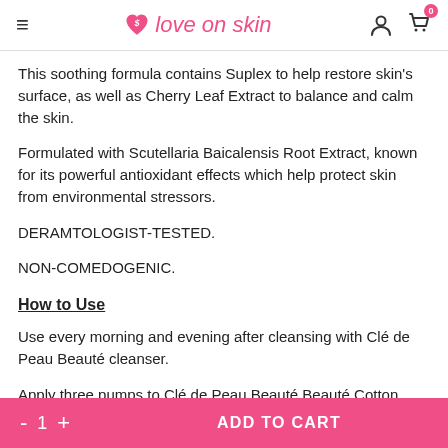love on skin
This soothing formula contains Suplex to help restore skin's surface, as well as Cherry Leaf Extract to balance and calm the skin.
Formulated with Scutellaria Baicalensis Root Extract, known for its powerful antioxidant effects which help protect skin from environmental stressors.
DERAMTOLOGIST-TESTED.
NON-COMEDOGENIC.
How to Use
Use every morning and evening after cleansing with Clé de Peau Beauté cleanser.
Apply three pumps to Clé de Peau Beauté Beauté Cotton. Swipe
- 1 + ADD TO CART